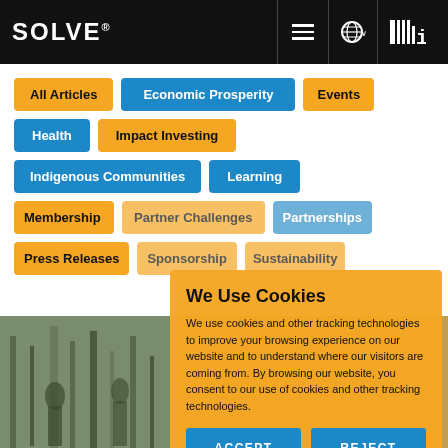SOLVE MIT
All Articles
Economic Prosperity
Events
Health
Impact Investing
Indigenous Communities
Learning
Membership
Partner Challenges
Partnerships
Press Releases
Sponsorship
Sustainability
We Use Cookies
We use cookies and other tracking technologies to improve your browsing experience on our website and to understand where our visitors are coming from. By browsing our website, you consent to our use of cookies and other tracking technologies.
ACCEPT
REJECT
[Figure (photo): Background photo of people outdoors, partially visible behind cookie consent overlay]